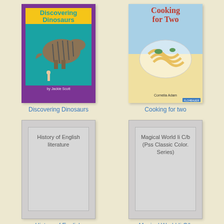[Figure (illustration): Book cover for 'Discovering Dinosaurs' showing a teal/purple cover with a dinosaur illustration and a child looking at a museum display]
Discovering Dinosaurs
[Figure (illustration): Book cover for 'Cooking for Two' showing pasta dish with vegetables on the cover]
Cooking for two
[Figure (illustration): Placeholder book cover for 'History of English literature' shown as a gray rectangle with title text]
History of English literature
[Figure (illustration): Placeholder book cover for 'Magical World Ii C/b (Pss Classic Color. Series)' shown as a gray rectangle with title text]
Magical World Ii C/b (Pss Classic Color. Series)